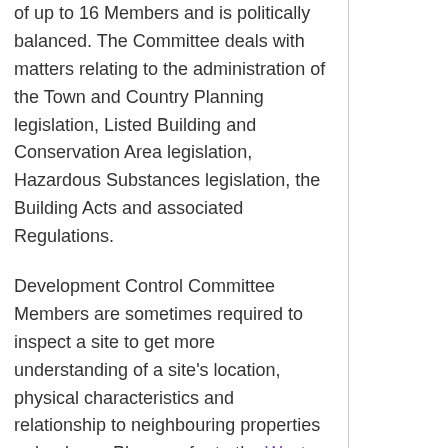of up to 16 Members and is politically balanced. The Committee deals with matters relating to the administration of the Town and Country Planning legislation, Listed Building and Conservation Area legislation, Hazardous Substances legislation, the Building Acts and associated Regulations.
Development Control Committee Members are sometimes required to inspect a site to get more understanding of a site's location, physical characteristics and relationship to neighbouring properties or land use. Please refer to the West Suffolk Site Visit Protocol for further information.